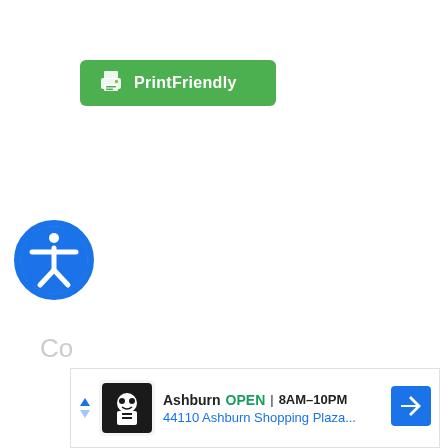[Figure (logo): PrintFriendly green button with printer icon and white text 'PrintFriendly']
[Figure (logo): Accessibility icon: blue circle with white person/accessibility symbol]
Co
[Figure (infographic): Advertisement banner: Ashburn store, OPEN 8AM-10PM, 44110 Ashburn Shopping Plaza..., with navigation arrow icon]